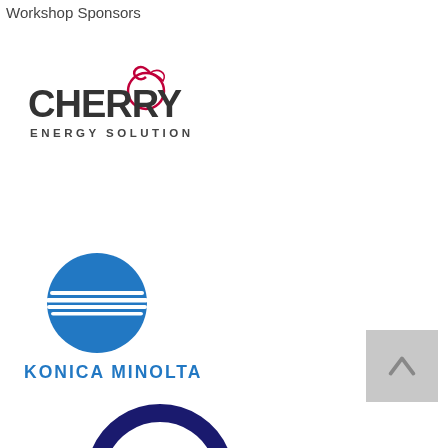Workshop Sponsors
[Figure (logo): Cherry Energy Solutions logo — bold dark text CHERRY with a stylized dark-red cherry icon, and ENERGY SOLUTIONS in smaller spaced text below]
[Figure (logo): Konica Minolta logo — blue circle with horizontal white stripes, and KONICA MINOLTA text below]
[Figure (logo): Partial third sponsor logo — dark blue circular arc shape, partially visible at bottom of page]